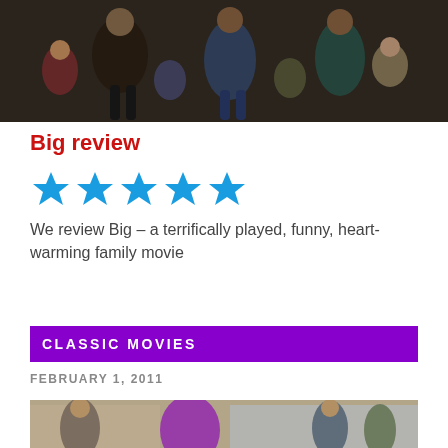[Figure (photo): Movie scene photo showing people dancing or jumping in a crowded public place, from the movie Big]
Big review
[Figure (other): Five blue star rating icons]
We review Big – a terrifically played, funny, heart-warming family movie
CLASSIC MOVIES
FEBRUARY 1, 2011
[Figure (photo): Movie still showing Barney the purple dinosaur character with people at what appears to be an outdoor event]